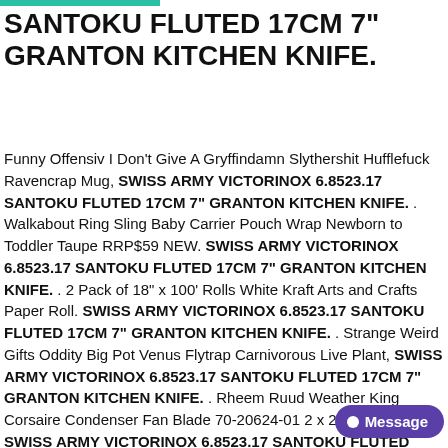SANTOKU FLUTED 17CM 7" GRANTON KITCHEN KNIFE.
Funny Offensiv I Don't Give A Gryffindamn Slythershit Hufflefuck Ravencrap Mug, SWISS ARMY VICTORINOX 6.8523.17 SANTOKU FLUTED 17CM 7" GRANTON KITCHEN KNIFE. . Walkabout Ring Sling Baby Carrier Pouch Wrap Newborn to Toddler Taupe RRP$59 NEW. SWISS ARMY VICTORINOX 6.8523.17 SANTOKU FLUTED 17CM 7" GRANTON KITCHEN KNIFE. . 2 Pack of 18" x 100' Rolls White Kraft Arts and Crafts Paper Roll. SWISS ARMY VICTORINOX 6.8523.17 SANTOKU FLUTED 17CM 7" GRANTON KITCHEN KNIFE. . Strange Weird Gifts Oddity Big Pot Venus Flytrap Carnivorous Live Plant, SWISS ARMY VICTORINOX 6.8523.17 SANTOKU FLUTED 17CM 7" GRANTON KITCHEN KNIFE. . Rheem Ruud Weather King Corsaire Condenser Fan Blade 70-20624-01 2 x 20" CCW, SWISS ARMY VICTORINOX 6.8523.17 SANTOKU FLUTED 17CM 7" GRANTON KITCHEN KNIFE. . Compresseur d'air Commutateur de Vanne de Pression du Pressostat d'avec Régulat… Rainbow Color EVA Tangram DIY Foam Brain Puzzle Kids